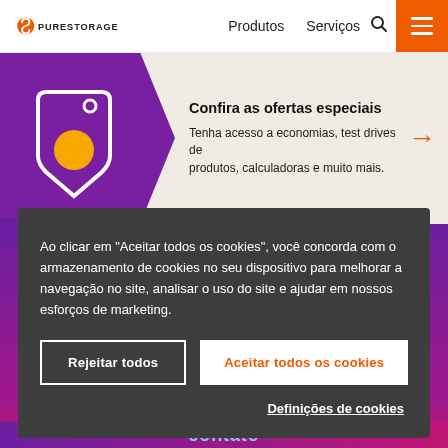[Figure (logo): Pure Storage logo with orange circular icon and PURESTORAGE text]
Produtos   Serviços
[Figure (illustration): Purple hexagonal banner with price tag icon containing orange circle. Promo section.]
Confira as ofertas especiais
Tenha acesso a economias, test drives de produtos, calculadoras e muito mais.
Ao clicar em “Aceitar todos os cookies”, você concorda com o armazenamento de cookies no seu dispositivo para melhorar a navegação no site, analisar o uso do site e ajudar em nossos esforços de marketing.
Rejeitar todos
Aceitar todos os cookies
Definições de cookies
contato